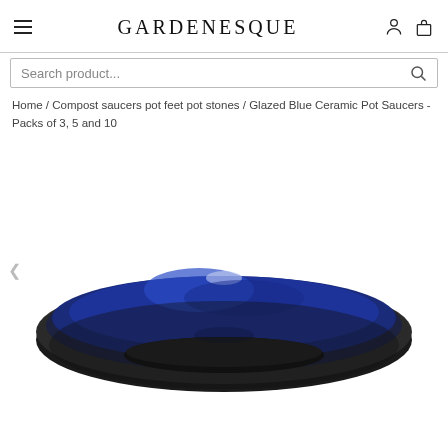GARDENESQUE
Search product...
Home / Compost saucers pot feet pot stones / Glazed Blue Ceramic Pot Saucers - Packs of 3, 5 and 10
[Figure (photo): A glazed blue ceramic pot saucer with dark/black rim, viewed from a slightly elevated angle against a white background.]